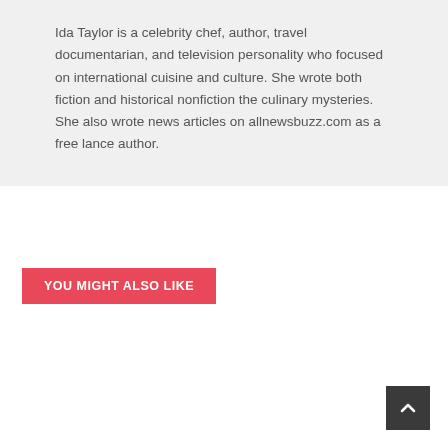Ida Taylor is a celebrity chef, author, travel documentarian, and television personality who focused on international cuisine and culture. She wrote both fiction and historical nonfiction the culinary mysteries. She also wrote news articles on allnewsbuzz.com as a free lance author.
YOU MIGHT ALSO LIKE